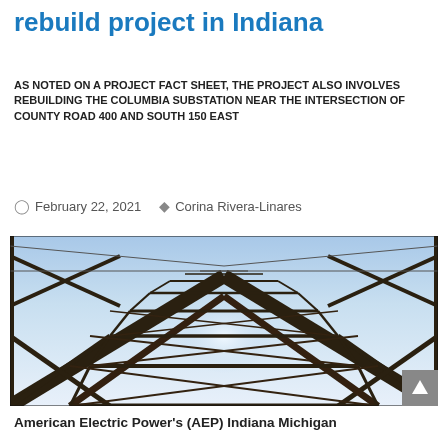rebuild project in Indiana
AS NOTED ON A PROJECT FACT SHEET, THE PROJECT ALSO INVOLVES REBUILDING THE COLUMBIA SUBSTATION NEAR THE INTERSECTION OF COUNTY ROAD 400 AND SOUTH 150 EAST
February 22, 2021  Corina Rivera-Linares
[Figure (photo): Looking up from below a large steel electrical transmission tower, showing the geometric lattice structure against a blue sky with power lines.]
American Electric Power's (AEP) Indiana Michigan